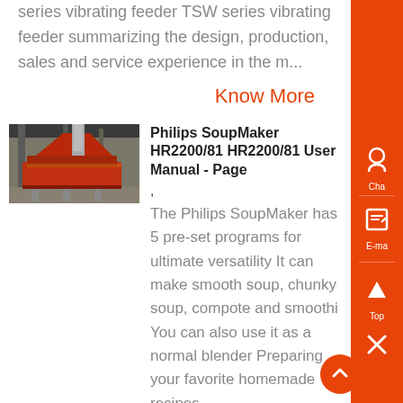series vibrating feeder TSW series vibrating feeder summarizing the design, production, sales and service experience in the m...
Know More
[Figure (photo): Industrial equipment photo showing a red vibrating feeder machine in an industrial building]
Philips SoupMaker HR2200/81 HR2200/81 User Manual - Page ,
The Philips SoupMaker has 5 pre-set programs for ultimate versatility It can make smooth soup, chunky soup, compote and smoothi You can also use it as a normal blender Preparing your favorite homemade recipes